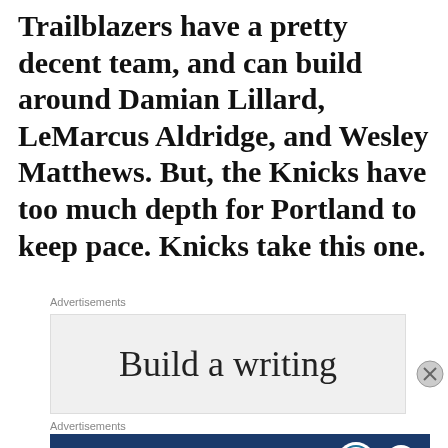Trailblazers have a pretty decent team, and can build around Damian Lillard, LeMarcus Aldridge, and Wesley Matthews. But, the Knicks have too much depth for Portland to keep pace. Knicks take this one.
Advertisements
[Figure (other): Advertisement box with text 'Build a writing']
Advertisements
[Figure (other): Advertisement banner: Opinions. We all have them! with WordPress and Blog logos on dark blue background]